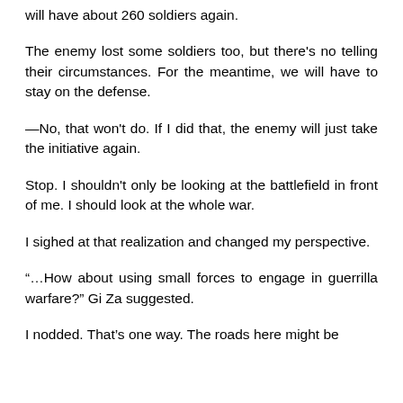will have about 260 soldiers again.
The enemy lost some soldiers too, but there's no telling their circumstances. For the meantime, we will have to stay on the defense.
—No, that won't do. If I did that, the enemy will just take the initiative again.
Stop. I shouldn't only be looking at the battlefield in front of me. I should look at the whole war.
I sighed at that realization and changed my perspective.
“…How about using small forces to engage in guerrilla warfare?” Gi Za suggested.
I nodded. That’s one way. The roads here might be